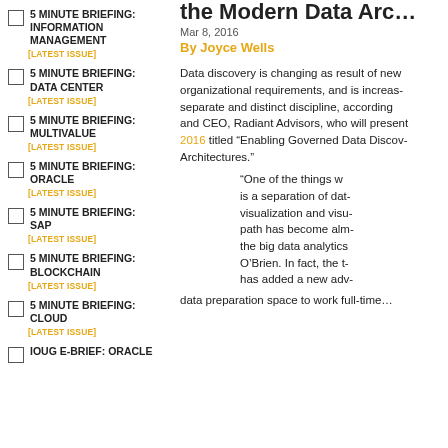5 MINUTE BRIEFING: INFORMATION MANAGEMENT [LATEST ISSUE]
5 MINUTE BRIEFING: DATA CENTER [LATEST ISSUE]
5 MINUTE BRIEFING: MULTIVALUE [LATEST ISSUE]
5 MINUTE BRIEFING: ORACLE [LATEST ISSUE]
5 MINUTE BRIEFING: SAP [LATEST ISSUE]
5 MINUTE BRIEFING: BLOCKCHAIN [LATEST ISSUE]
5 MINUTE BRIEFING: CLOUD [LATEST ISSUE]
IOUG E-BRIEF: ORACLE
the Modern Data Arc...
Mar 8, 2016
By Joyce Wells
Data discovery is changing as result of new organizational requirements, and is increasingly a separate and distinct discipline, according to and CEO, Radiant Advisors, who will present at 2016 titled "Enabling Governed Data Discovery Architectures."
“One of the things w... is a separation of da... visualization and visu... path has become alm... the big data analytic... O’Brien. In fact, the t... has added a new ad...
data preparation space to work full-time...